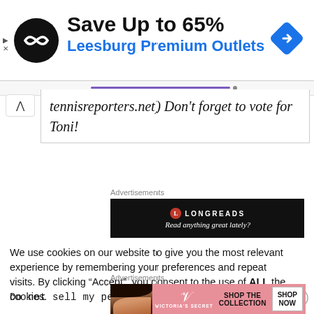[Figure (other): Advertisement banner: black circle logo with double-arrow icon, text 'Save Up to 65%' in bold black, 'Leesburg Premium Outlets' in blue. Blue navigation diamond icon on the right.]
tennisreporters.net) Don't forget to vote for Toni!
Advertisements
[Figure (other): Longreads advertisement: black background, red circle L icon, 'LONGREADS' in white capitals, 'Read anything great lately?' in white italic.]
We use cookies on our website to give you the most relevant experience by remembering your preferences and repeat visits. By clicking “Accept”, you consent to the use of ALL the cookies.
Do not sell my personal information
Advertisements
[Figure (other): Victoria's Secret advertisement: pink background with model photo, VS wing logo, 'SHOP THE COLLECTION' text, 'SHOP NOW' button.]